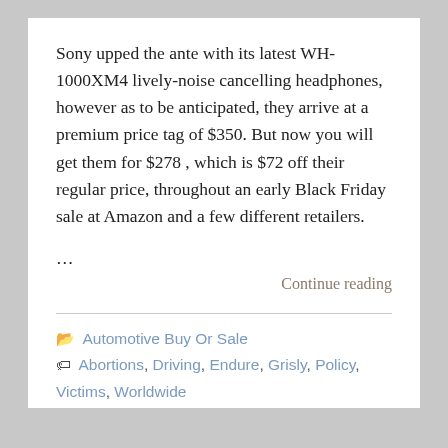Sony upped the ante with its latest WH-1000XM4 lively-noise cancelling headphones, however as to be anticipated, they arrive at a premium price tag of $350. But now you will get them for $278, which is $72 off their regular price, throughout an early Black Friday sale at Amazon and a few different retailers.
...
Continue reading
Automotive Buy Or Sale
Abortions, Driving, Endure, Grisly, Policy, Victims, Worldwide